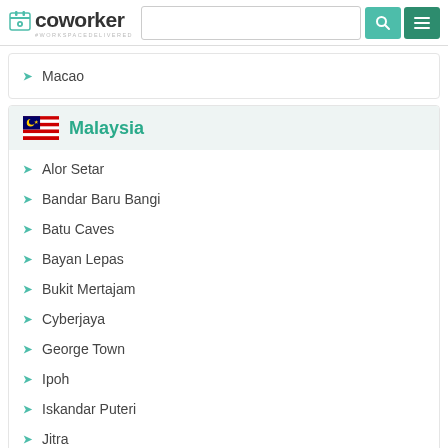coworker — #WORKSPACEDELIVERED
Macao
Malaysia
Alor Setar
Bandar Baru Bangi
Batu Caves
Bayan Lepas
Bukit Mertajam
Cyberjaya
George Town
Ipoh
Iskandar Puteri
Jitra